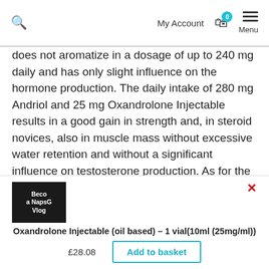Search | My Account | 0 | Menu
does not aromatize in a dosage of up to 240 mg daily and has only slight influence on the hormone production. The daily intake of 280 mg Andriol and 25 mg Oxandrolone Injectable results in a good gain in strength and, in steroid novices, also in muscle mass without excessive water retention and without a significant influence on testosterone production. As for the dos-age of Oxandrolone, 8-12 tablets in men and 5-6 tablets in women seem to bring the best results. The rule of thumb to take 0.125 mg/pound of body weight daily has proven successful in clinical tests. The tablets are normally taken two to three times daily after
[Figure (screenshot): Thumbnail image with text: Beco a NapsG Vlog]
Oxandrolone Injectable (oil based) – 1 vial(10ml (25mg/ml))
£28.08  Add to basket